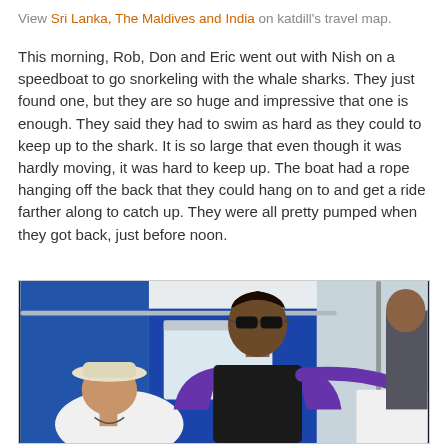View Sri Lanka, The Maldives and India on katdill's travel map.
This morning, Rob, Don and Eric went out with Nish on a speedboat to go snorkeling with the whale sharks. They just found one, but they are so huge and impressive that one is enough. They said they had to swim as hard as they could to keep up to the shark. It is so large that even though it was hardly moving, it was hard to keep up. The boat had a rope hanging off the back that they could hang on to and get a ride farther along to catch up. They were all pretty pumped when they got back, just before noon.
[Figure (photo): Two men on a speedboat interior. Left: older man seated wearing a white hat and white shirt. Right: taller man standing wearing black and purple long-sleeve rashguard and sunglasses. Blue interior walls and white ceiling visible. Another person partially visible at right edge.]